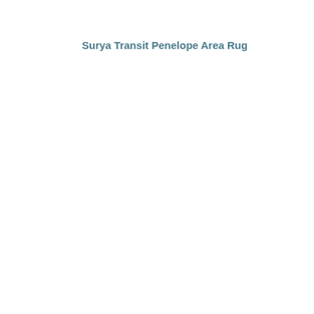Surya Transit Penelope Area Rug